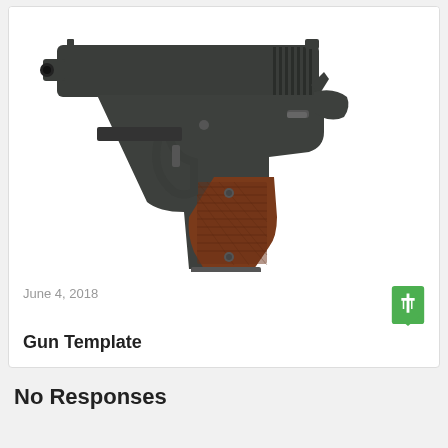[Figure (photo): A M1911-style semi-automatic pistol with dark grey/black metal finish and brown checkered wood grip panels, shown in profile facing left]
June 4, 2018
Gun Template
No Responses